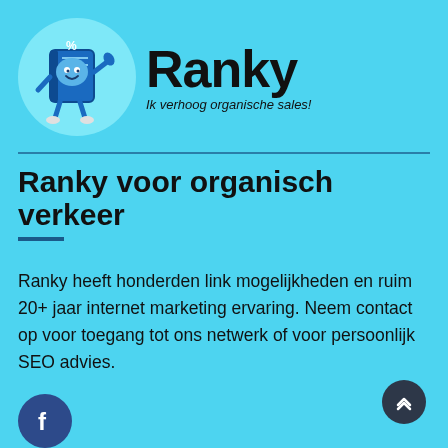[Figure (logo): Ranky mascot logo: a blue cartoon book character with arms and legs, giving a thumbs up, inside a light blue circle. Next to it: large bold text 'Ranky' and italic tagline 'Ik verhoog organische sales!']
Ranky voor organisch verkeer
Ranky heeft honderden link mogelijkheden en ruim 20+ jaar internet marketing ervaring. Neem contact op voor toegang tot ons netwerk of voor persoonlijk SEO advies.